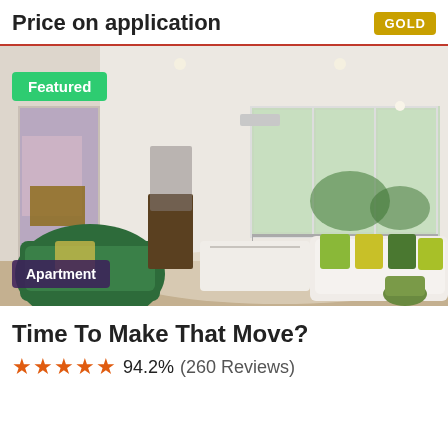Price on application
GOLD
[Figure (photo): Interior photo of a bright modern apartment living room with green velvet armchairs, white sofa with green and yellow cushions, large windows with outdoor balcony view, floor lamp and mirror. Featured badge and Apartment badge overlaid.]
Time To Make That Move?
★★★★★ 94.2% (260 Reviews)